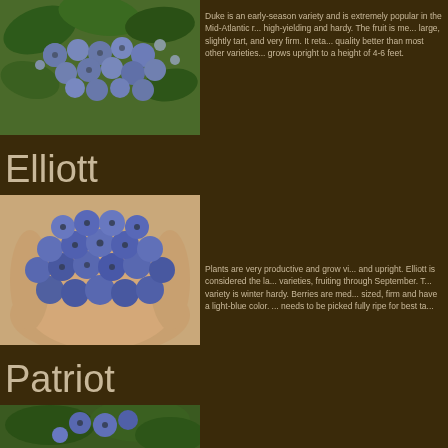[Figure (photo): Close-up photo of blueberries on a plant with green leaves, Duke variety]
Duke is an early-season variety and is extremely popular in the Mid-Atlantic r... high-yielding and hardy. The fruit is me... large, slightly tart, and very firm. It reta... quality better than most other varieties... grows upright to a height of 4-6 feet.
Elliott
[Figure (photo): Hands holding a large pile of blue blueberries, Elliott variety]
Plants are very productive and grow vi... and upright. Elliott is considered the la... varieties, fruiting through September. T... variety is winter hardy. Berries are med... sized, firm and have a light-blue color. ... needs to be picked fully ripe for best ta...
Patriot
[Figure (photo): Partial photo of Patriot blueberry variety with blueberries and green leaves]